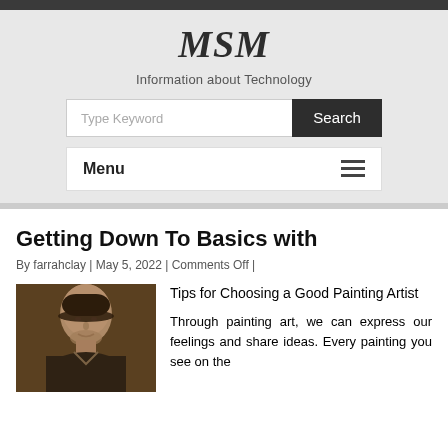MSM
Information about Technology
Type Keyword | Search
Menu
Getting Down To Basics with
By farrahclay | May 5, 2022 | Comments Off |
[Figure (photo): Portrait painting of an older man wearing a dark hat, painted in a classical style with dark brown background.]
Tips for Choosing a Good Painting Artist

Through painting art, we can express our feelings and share ideas. Every painting you see on the